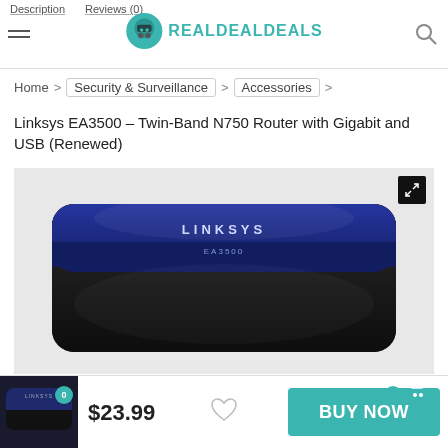Description | Reviews (0) | REALDEALDEALS
Home > Security & Surveillance > Accessories >
Linksys EA3500 – Twin-Band N750 Router with Gigabit and USB (Renewed)
[Figure (photo): Linksys EA3500 router, black body with dark blue top panel showing LINKSYS and EA3500 branding, front view]
$23.99
BUY NOW